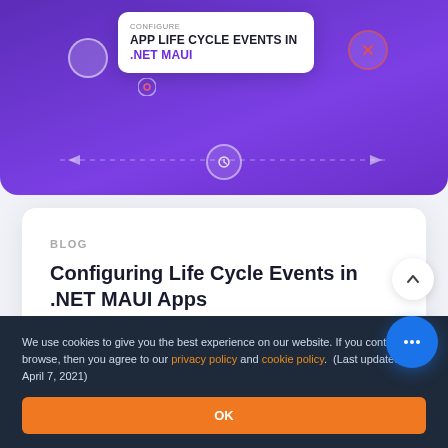[Figure (screenshot): Purple banner showing a UI card with text 'CONFIGURE APP LIFE CYCLE EVENTS IN .NET MAUI' with icons, dashed lines, and arrows on a purple gradient background.]
BLOG
Configuring Life Cycle Events in .NET MAUI Apps
Read blog →
We use cookies to give you the best experience on our website. If you continue to browse, then you agree to our privacy policy and cookie policy.  (Last updated on: April 7, 2021)
OK